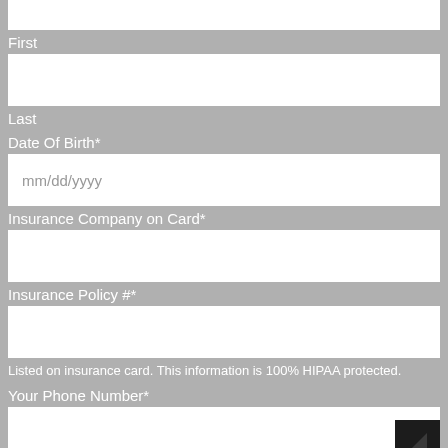First
[input field - First name]
Last
Date Of Birth*
mm/dd/yyyy
Insurance Company on Card*
[input field - Insurance Company]
Insurance Policy #*
[input field - Insurance Policy]
Listed on insurance card. This information is 100% HIPAA protected.
Your Phone Number*
[input field - Phone Number]